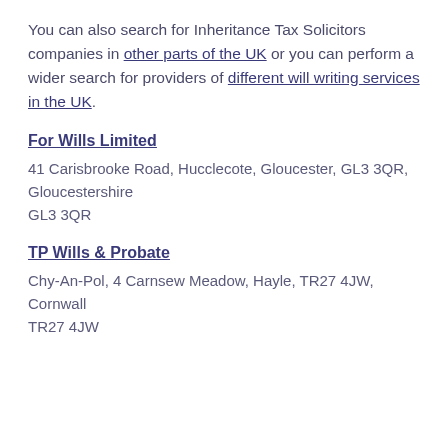You can also search for Inheritance Tax Solicitors companies in other parts of the UK or you can perform a wider search for providers of different will writing services in the UK.
For Wills Limited
41 Carisbrooke Road, Hucclecote, Gloucester, GL3 3QR, Gloucestershire
GL3 3QR
TP Wills & Probate
Chy-An-Pol, 4 Carnsew Meadow, Hayle, TR27 4JW, Cornwall
TR27 4JW